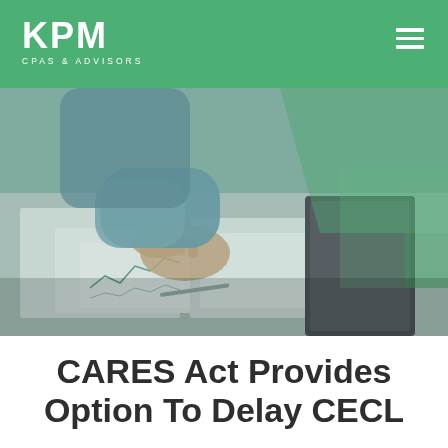KPM CPAS & ADVISORS
[Figure (photo): Person reviewing financial documents and charts on a desk with a tablet, photographed from above at an angle, with a green geometric overlay in the upper-right corner. Office/advisory context.]
CARES Act Provides Option To Delay CECL